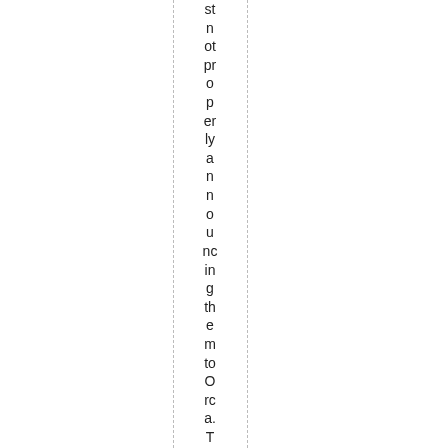st n ot pr o p er ly a n n o u nc in g th e m to O rc a. T h us I th re w